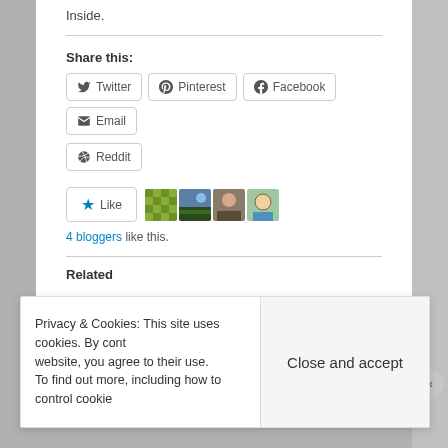Inside.
Share this:
Twitter
Pinterest
Facebook
Email
Reddit
Like  4 bloggers like this.
Related
Privacy & Cookies: This site uses cookies. By continuing to use this website, you agree to their use. To find out more, including how to control cookies,
Close and accept